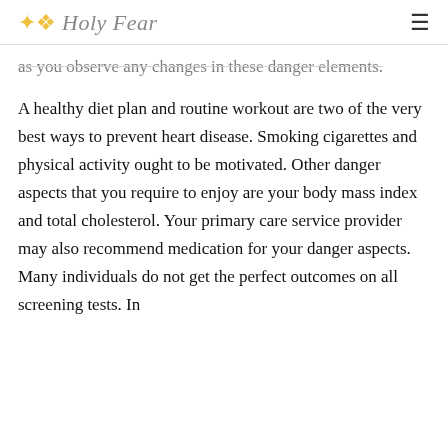Holy Fear
as you observe any changes in these danger elements.
A healthy diet plan and routine workout are two of the very best ways to prevent heart disease. Smoking cigarettes and physical activity ought to be motivated. Other danger aspects that you require to enjoy are your body mass index and total cholesterol. Your primary care service provider may also recommend medication for your danger aspects. Many individuals do not get the perfect outcomes on all screening tests. In